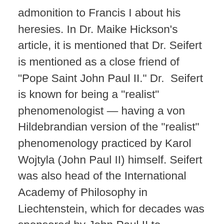admonition to Francis I about his heresies. In Dr. Maike Hickson's article, it is mentioned that Dr. Seifert is mentioned as a close friend of "Pope Saint John Paul II." Dr.  Seifert is known for being a "realist" phenomenologist — having a von Hildebrandian version of the "realist" phenomenology practiced by Karol Wojtyla (John Paul II) himself. Seifert was also head of the International Academy of Philosophy in Liechtenstein, which for decades was sponsored by John Paul II to propagate this version of philosophy put forward by Edmund Husserl to deal with the problem of knowledge stumbled into by Descartes and Kant which breaks the self-evident connection between our minds and the really existing material and non-material things in the world around us. Seifert's "realist" phenomenology — as in all forms of phenomenology — "brackets" the question of